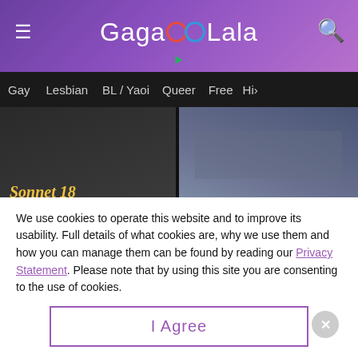GagaOOLala
Gay  Lesbian  BL / Yaoi  Queer  Free  Hi>
[Figure (screenshot): Two thumbnail images side by side: left shows cursive text 'Sonnet 18' in gold on dark background, right shows two people in a close scene on blue-gray background]
Sonnet 18
Love is Not Easy to Have
[Figure (photo): Advertisement banner showing person with dark hair against a red background with text MAKE LOVE, NOT WAR!]
We use cookies to operate this website and to improve its usability. Full details of what cookies are, why we use them and how you can manage them can be found by reading our Privacy Statement. Please note that by using this site you are consenting to the use of cookies.
I Agree